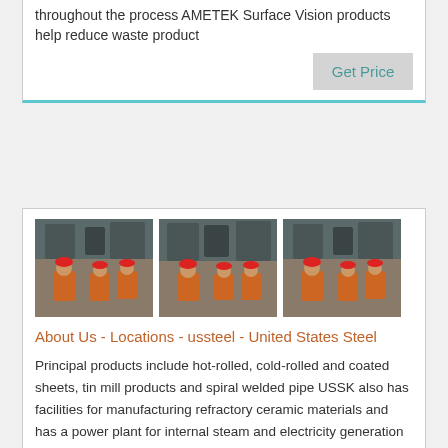throughout the process AMETEK Surface Vision products help reduce waste product
Get Price
[Figure (photo): Three industrial photos showing workers in orange safety vests in a steel manufacturing facility]
About Us - Locations - ussteel - United States Steel
Principal products include hot-rolled, cold-rolled and coated sheets, tin mill products and spiral welded pipe USSK also has facilities for manufacturing refractory ceramic materials and has a power plant for internal steam and electricity generation In addition, the facility has a research laboratory, which, in conjunction with our Research ,